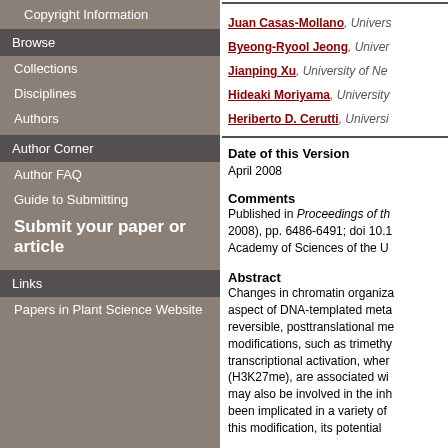Copyright Information
Browse
Collections
Disciplines
Authors
Author Corner
Author FAQ
Guide to Submitting
Submit your paper or article
Links
Papers in Plant Science Website
Juan Casas-Mollano, Univers Byeong-Ryool Jeong, Univer Jianping Xu, University of Ne Hideaki Moriyama, University Heriberto D. Cerutti, Universi
Date of this Version
April 2008
Comments
Published in Proceedings of th 2008), pp. 6486-6491; doi 10.1 Academy of Sciences of the U
Abstract
Changes in chromatin organiza aspect of DNA-templated meta reversible, posttranslational me modifications, such as trimethy transcriptional activation, when (H3K27me), are associated wi may also be involved in the inh been implicated in a variety of this modification, its potential